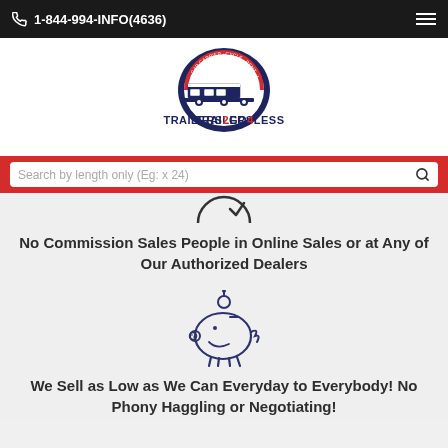1-844-994-INFO(4636)
[Figure (logo): Trailers2Go4Less logo — circular emblem with trailer image over blue arch, text TRAILERS2GO4LESS below]
Search by length only (Eg: x 24)
[Figure (illustration): Partial circular checkmark icon at top of content section]
No Commission Sales People in Online Sales or at Any of Our Authorized Dealers
[Figure (illustration): Piggy bank outline icon in dark navy/purple color]
We Sell as Low as We Can Everyday to Everybody! No Phony Haggling or Negotiating!